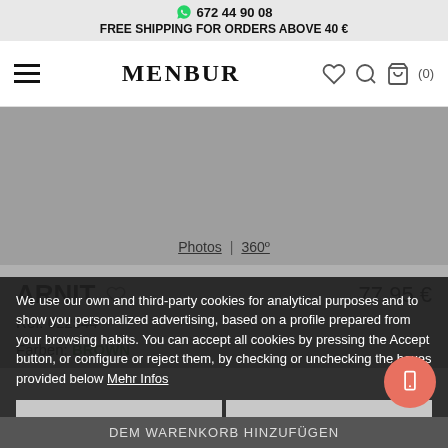672 44 90 08
FREE SHIPPING FOR ORDERS ABOVE 40 €
[Figure (screenshot): Menbur e-commerce website navigation bar with hamburger menu, MENBUR logo, heart icon, search icon, and cart (0)]
[Figure (photo): Product image area showing grey background with Photos | 360° tab controls]
ARNIT
Ref. 022544
Farben: BROWN
We use our own and third-party cookies for analytical purposes and to show you personalized advertising, based on a profile prepared from your browsing habits. You can accept all cookies by pressing the Accept button, or configure or reject them, by checking or unchecking the boxes provided below Mehr Infos
ACCEPT ALL
CONFIGURATION
DEM WARENKORB HINZUFÜGEN